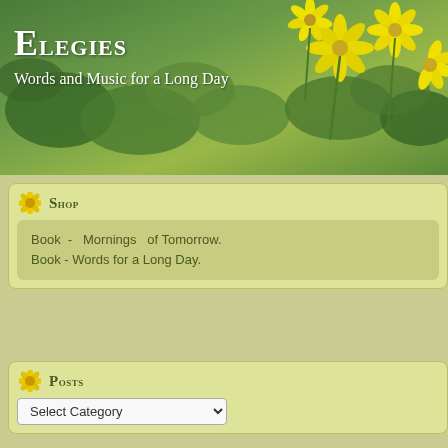[Figure (photo): Header banner with yellow flowers and green foliage background]
Elegies
Words and Music for a Long Day
Shop
Book - Mornings of Tomorrow.
Book - Words for a Long Day.
Posts
Select Category
Archives
Select Month
This Month Past Years
2021 -
« Little House
I think this is a stearman or a Pitts??
[Figure (photo): Grass field photo with '© Elegies' watermark]